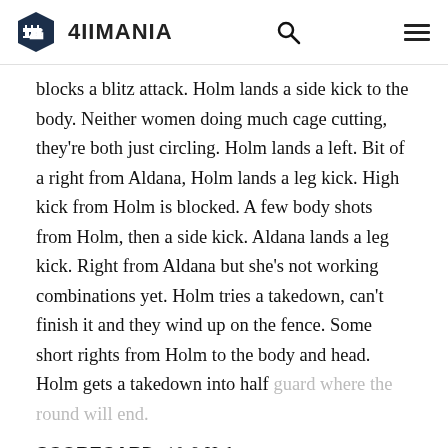4IIMANIA
blocks a blitz attack. Holm lands a side kick to the body. Neither women doing much cage cutting, they're both just circling. Holm lands a left. Bit of a right from Aldana, Holm lands a leg kick. High kick from Holm is blocked. A few body shots from Holm, then a side kick. Aldana lands a leg kick. Right from Aldana but she's not working combinations yet. Holm tries a takedown, can't finish it and they wind up on the fence. Some short rights from Holm to the body and head. Holm gets a takedown into half guard where the round will end.
SCORECARD: 10-9 Holm